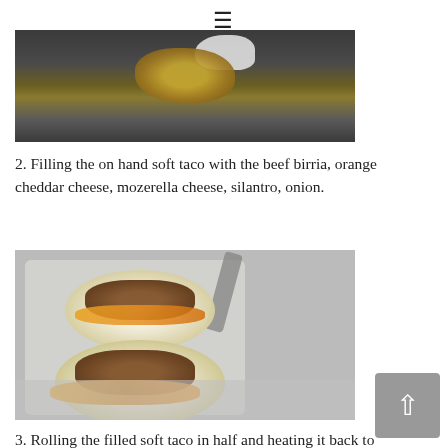≡
[Figure (photo): Cooking food on a flat metal griddle, with a gloved hand visible and golden-brown chopped ingredients on the dark surface.]
2. Filling the on hand soft taco with the beef birria, orange cheddar cheese, mozerella cheese, silantro, onion.
[Figure (photo): Two open soft tacos on a white cutting board, each topped with seasoned ground beef (birria) and scattered orange cheddar cheese, on a stainless steel counter.]
3. Rolling the filled soft taco in half and heating it back to the